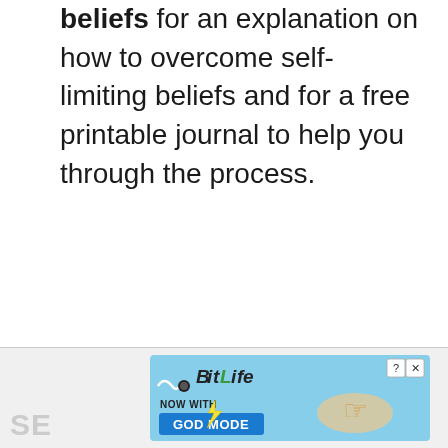beliefs for an explanation on how to overcome self-limiting beliefs and for a free printable journal to help you through the process.
[Figure (other): BitLife advertisement banner with blue background, BitLife logo with lightning bolt, 'NOW WITH GOD MODE' button, and a pointing hand illustration. Has close (X) and help (?) buttons.]
SE